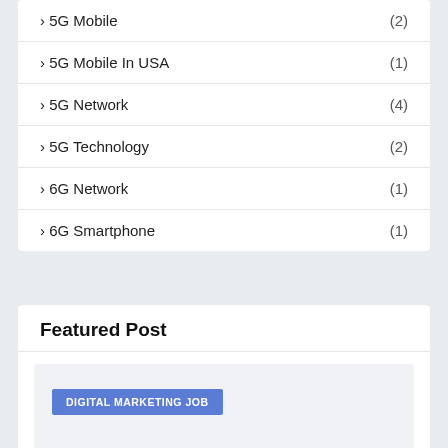› 5G Mobile (2)
› 5G Mobile In USA (1)
› 5G Network (4)
› 5G Technology (2)
› 6G Network (1)
› 6G Smartphone (1)
Featured Post
[Figure (infographic): Featured post card with a blue badge labeled DIGITAL MARKETING JOB on a light grey background]